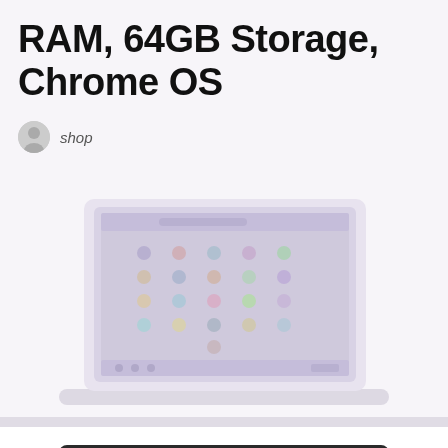RAM, 64GB Storage, Chrome OS
shop
[Figure (photo): A faded/washed-out image of a laptop (Chromebook) showing the Chrome OS interface with app icons on screen, viewed from the front at a slight angle.]
[Figure (photo): Partial view of a dark-colored laptop at the bottom of the page, cropped.]